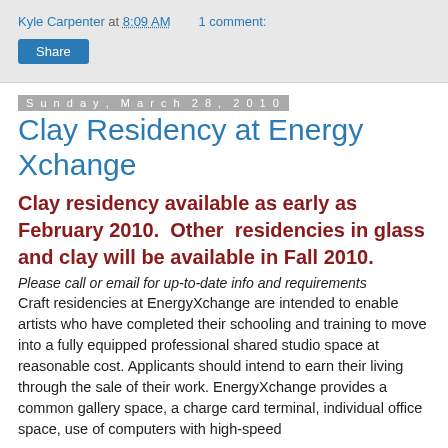Kyle Carpenter at 8:09 AM   1 comment:
Share
Sunday, March 28, 2010
Clay Residency at Energy Xchange
Clay residency available as early as February 2010.  Other  residencies in glass and clay will be available in Fall 2010.
Please call or email for up-to-date info and requirements Craft residencies at EnergyXchange are intended to enable artists who have completed their schooling and training to move into a fully equipped professional shared studio space at reasonable cost. Applicants should intend to earn their living through the sale of their work. EnergyXchange provides a common gallery space, a charge card terminal, individual office space, use of computers with high-speed